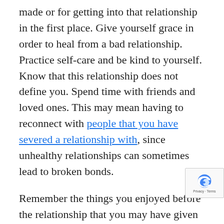made or for getting into that relationship in the first place. Give yourself grace in order to heal from a bad relationship. Practice self-care and be kind to yourself. Know that this relationship does not define you. Spend time with friends and loved ones. This may mean having to reconnect with people that you have severed a relationship with, since unhealthy relationships can sometimes lead to broken bonds.
Remember the things you enjoyed before the relationship that you may have given up during the relationship. These could be great things to get back involved with. You may also decide to try something new. This could lead you to find